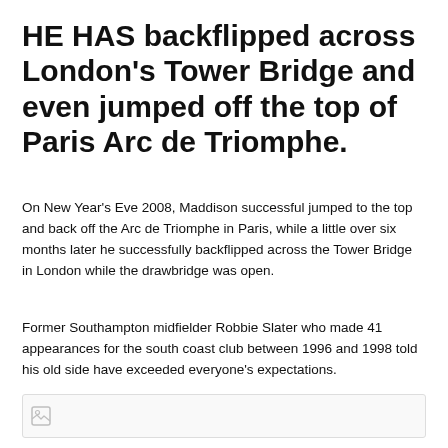HE HAS backflipped across London's Tower Bridge and even jumped off the top of Paris Arc de Triomphe.
On New Year's Eve 2008, Maddison successful jumped to the top and back off the Arc de Triomphe in Paris, while a little over six months later he successfully backflipped across the Tower Bridge in London while the drawbridge was open.
Former Southampton midfielder Robbie Slater who made 41 appearances for the south coast club between 1996 and 1998 told his old side have exceeded everyone's expectations.
[Figure (other): Partially visible image placeholder at bottom of page]